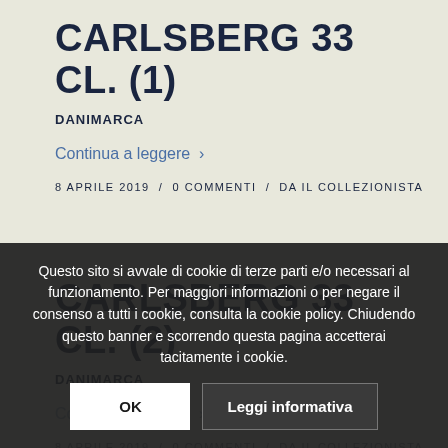CARLSBERG 33 CL. (1)
DANIMARCA
Continua a leggere >
8 APRILE 2019  /  0 COMMENTI  /  DA IL COLLEZIONISTA
CARLSBERG 33 CL. (2)
DANIMARCA
Continua a leggere >
8 APRILE 2019  /  0 COMMENTI  /  DA IL COLLEZIONISTA
Questo sito si avvale di cookie di terze parti e/o necessari al funzionamento. Per maggiori informazioni o per negare il consenso a tutti i cookie, consulta la cookie policy. Chiudendo questo banner e scorrendo questa pagina accetterai tacitamente i cookie.
OK
Leggi informativa